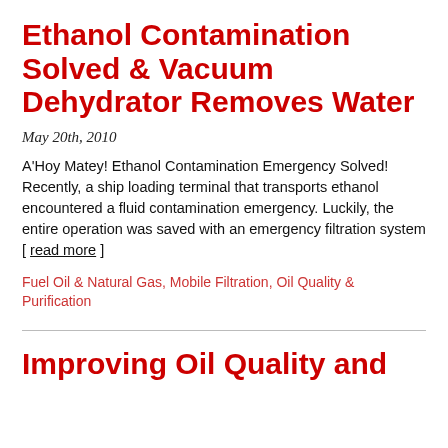Ethanol Contamination Solved & Vacuum Dehydrator Removes Water
May 20th, 2010
A'Hoy Matey! Ethanol Contamination Emergency Solved! Recently, a ship loading terminal that transports ethanol encountered a fluid contamination emergency. Luckily, the entire operation was saved with an emergency filtration system [ read more ]
Fuel Oil & Natural Gas, Mobile Filtration, Oil Quality & Purification
Improving Oil Quality and